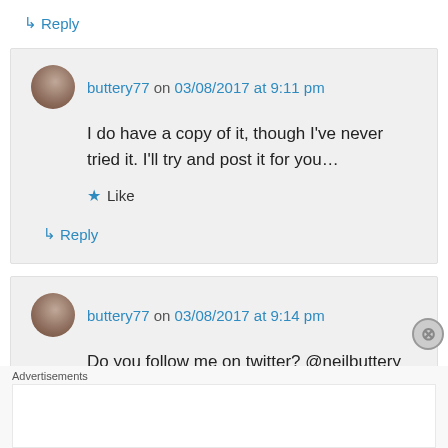↳ Reply
buttery77 on 03/08/2017 at 9:11 pm
I do have a copy of it, though I've never tried it. I'll try and post it for you…
★ Like
↳ Reply
buttery77 on 03/08/2017 at 9:14 pm
Do you follow me on twitter? @neilbuttery
Advertisements